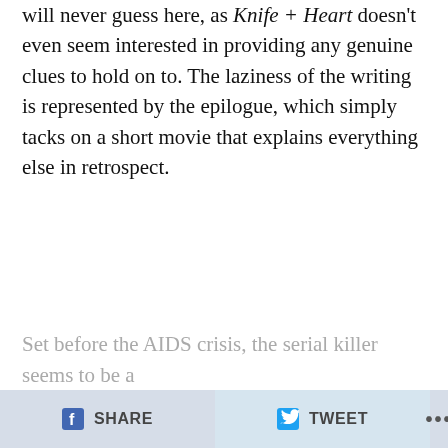will never guess here, as Knife + Heart doesn't even seem interested in providing any genuine clues to hold on to. The laziness of the writing is represented by the epilogue, which simply tacks on a short movie that explains everything else in retrospect.
Set before the AIDS crisis, the serial killer seems to be a
SHARE   TWEET   ...